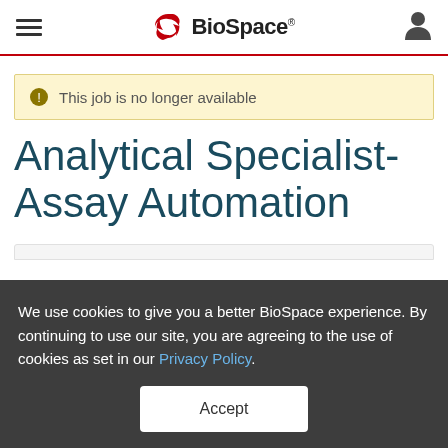BioSpace
This job is no longer available
Analytical Specialist- Assay Automation
We use cookies to give you a better BioSpace experience. By continuing to use our site, you are agreeing to the use of cookies as set in our Privacy Policy.